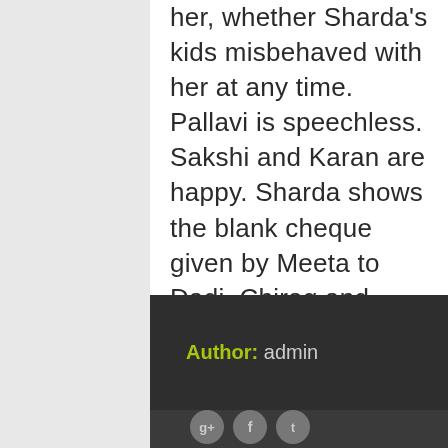her, whether Sharda's kids misbehaved with her at any time. Pallavi is speechless. Sakshi and Karan are happy. Sharda shows the blank cheque given by Meeta to Dadi, Chirag and Latika. Latika asks her what she wants to do. Sharda tells her that she doesn't want to do the business. Keep reading.
Author: admin
[Figure (infographic): Social media icons: Google+, Facebook, Twitter]